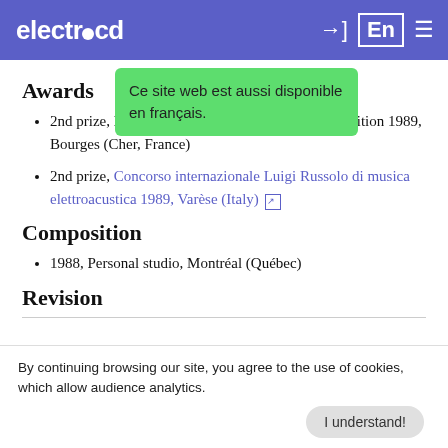electrocd
[Figure (screenshot): Green tooltip popup reading: Ce site web est aussi disponible en français.]
Awards
2nd prize, Mixed — Bourges International Competition 1989, Bourges (Cher, France)
2nd prize, Concorso internazionale Luigi Russolo di musica elettroacustica 1989, Varèse (Italy)
Composition
1988, Personal studio, Montréal (Québec)
Revision
By continuing browsing our site, you agree to the use of cookies, which allow audience analytics.